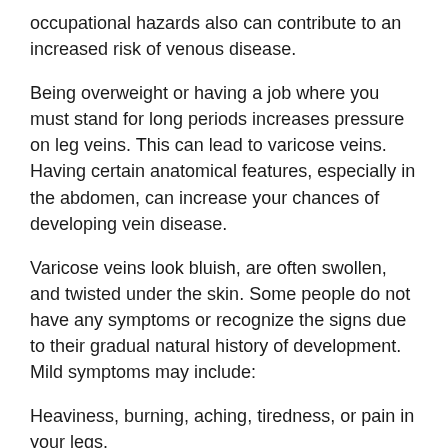occupational hazards also can contribute to an increased risk of venous disease.
Being overweight or having a job where you must stand for long periods increases pressure on leg veins. This can lead to varicose veins. Having certain anatomical features, especially in the abdomen, can increase your chances of developing vein disease.
Varicose veins look bluish, are often swollen, and twisted under the skin. Some people do not have any symptoms or recognize the signs due to their gradual natural history of development. Mild symptoms may include:
Heaviness, burning, aching, tiredness, or pain in your legs.
Symptoms may be worse after you stand or sit for long periods.